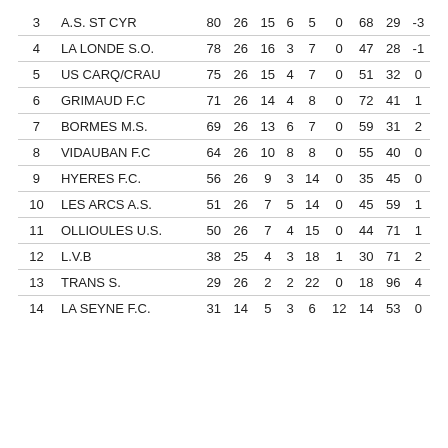| # | Team | Pts | P | W | D | L | NA | GF | GA | GD |
| --- | --- | --- | --- | --- | --- | --- | --- | --- | --- | --- |
| 3 | A.S. ST CYR | 80 | 26 | 15 | 6 | 5 | 0 | 68 | 29 | -3 |
| 4 | LA LONDE S.O. | 78 | 26 | 16 | 3 | 7 | 0 | 47 | 28 | -1 |
| 5 | US CARQ/CRAU | 75 | 26 | 15 | 4 | 7 | 0 | 51 | 32 | 0 |
| 6 | GRIMAUD F.C | 71 | 26 | 14 | 4 | 8 | 0 | 72 | 41 | 1 |
| 7 | BORMES M.S. | 69 | 26 | 13 | 6 | 7 | 0 | 59 | 31 | 2 |
| 8 | VIDAUBAN F.C | 64 | 26 | 10 | 8 | 8 | 0 | 55 | 40 | 0 |
| 9 | HYERES F.C. | 56 | 26 | 9 | 3 | 14 | 0 | 35 | 45 | 0 |
| 10 | LES ARCS A.S. | 51 | 26 | 7 | 5 | 14 | 0 | 45 | 59 | 1 |
| 11 | OLLIOULES U.S. | 50 | 26 | 7 | 4 | 15 | 0 | 44 | 71 | 1 |
| 12 | L.V.B | 38 | 25 | 4 | 3 | 18 | 1 | 30 | 71 | 2 |
| 13 | TRANS S. | 29 | 26 | 2 | 2 | 22 | 0 | 18 | 96 | 4 |
| 14 | LA SEYNE F.C. | 31 | 14 | 5 | 3 | 6 | 12 | 14 | 53 | 0 |